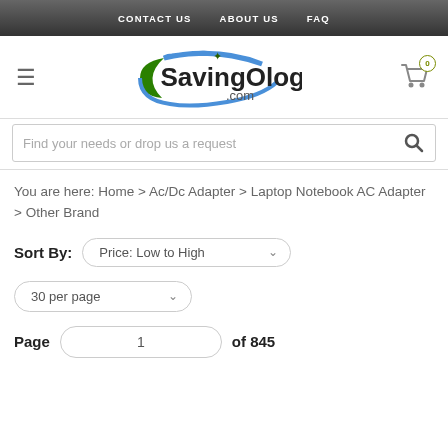CONTACT US   ABOUT US   FAQ
[Figure (logo): SavingOlogy.com logo with green crescent and blue swoosh]
Find your needs or drop us a request
You are here: Home > Ac/Dc Adapter > Laptop Notebook AC Adapter > Other Brand
Sort By: Price: Low to High
30 per page
Page 1 of 845